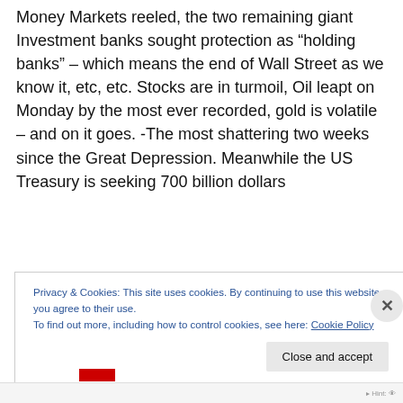Money Markets reeled, the two remaining giant Investment banks sought protection as “holding banks” – which means the end of Wall Street as we know it, etc, etc. Stocks are in turmoil, Oil leapt on Monday by the most ever recorded, gold is volatile – and on it goes. -The most shattering two weeks since the Great Depression. Meanwhile the US Treasury is seeking 700 billion dollars
Privacy & Cookies: This site uses cookies. By continuing to use this website, you agree to their use.
To find out more, including how to control cookies, see here: Cookie Policy